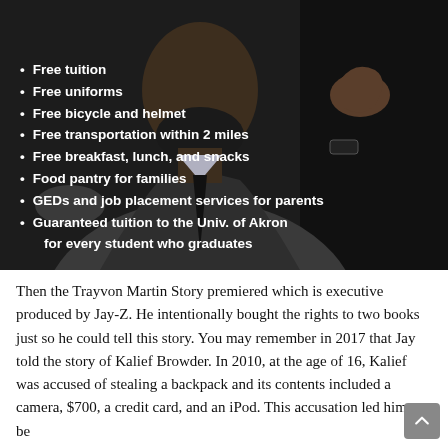[Figure (photo): Man in dark suit with beard, speaking or gesturing, photographed against dark background. Overlaid with a bulleted list of educational benefits.]
Free tuition
Free uniforms
Free bicycle and helmet
Free transportation within 2 miles
Free breakfast, lunch, and snacks
Food pantry for families
GEDs and job placement services for parents
Guaranteed tuition to the Univ. of Akron for every student who graduates
Then the Trayvon Martin Story premiered which is executive produced by Jay-Z. He intentionally bought the rights to two books just so he could tell this story. You may remember in 2017 that Jay told the story of Kalief Browder. In 2010, at the age of 16, Kalief was accused of stealing a backpack and its contents included a camera, $700, a credit card, and an iPod. This accusation led him to be